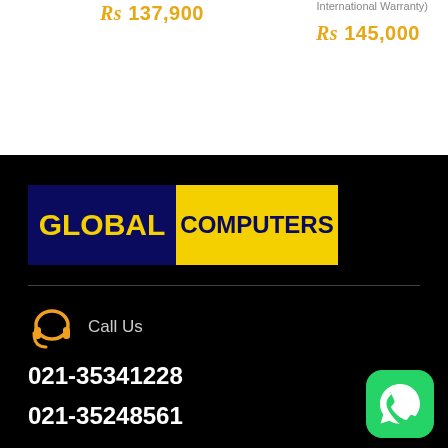Rs 137,900
International Warranty)
Rs 145,000
[Figure (logo): Global Computers logo: dark navy background with yellow text 'GLOBAL' on left, yellow background with navy text 'COMPUTERS' on right]
Call Us
021-35341228
021-35248561
[Figure (other): WhatsApp green button icon in bottom right corner]